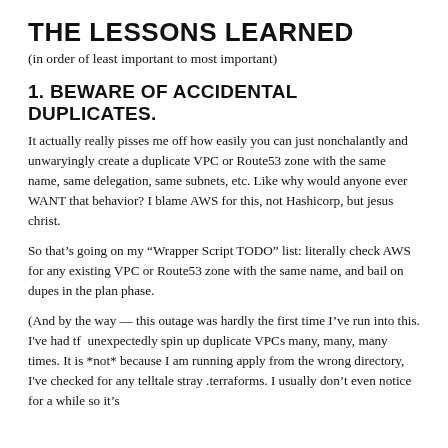THE LESSONS LEARNED
(in order of least important to most important)
1.  BEWARE OF ACCIDENTAL DUPLICATES.
It actually really pisses me off how easily you can just nonchalantly and unwaryingly create a duplicate VPC or Route53 zone with the same name, same delegation, same subnets, etc.  Like why would anyone ever WANT that behavior?  I blame AWS for this, not Hashicorp, but jesus christ.
So that's going on my “Wrapper Script TODO” list: literally check AWS for any existing VPC or Route53 zone with the same name, and bail on dupes in the plan phase.
(And by the way — this outage was hardly the first time I’ve run into this.  I've had tf  unexpectedly spin up duplicate VPCs many, many, many times.  It is *not* because I am running apply from the wrong directory, I've checked for any telltale stray .terraforms.  I usually don’t even notice for a while so it’s